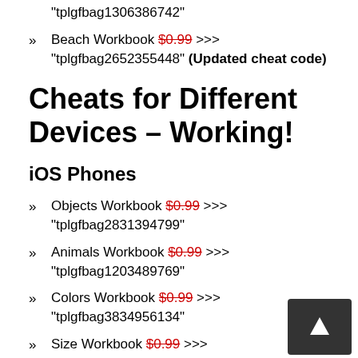"tplgfbag1306386742"
Beach Workbook $0.99 >>> "tplgfbag2652355448" (Updated cheat code)
Cheats for Different Devices – Working!
iOS Phones
Objects Workbook $0.99 >>> "tplgfbag2831394799"
Animals Workbook $0.99 >>> "tplgfbag1203489769"
Colors Workbook $0.99 >>> "tplgfbag3834956134"
Size Workbook $0.99 >>> "tplgfbag1471624212"